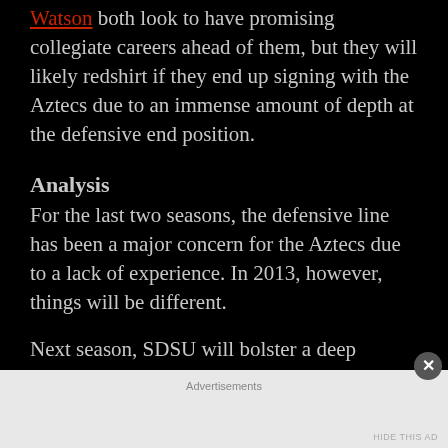Watson both look to have promising collegiate careers ahead of them, but they will likely redshirt if they end up signing with the Aztecs due to an immense amount of depth at the defensive end position.
Analysis
For the last two seasons, the defensive line has been a major concern for the Aztecs due to a lack of experience. In 2013, however, things will be different.
Next season, SDSU will bolster a deep defensive line unit after losing just one senior
Advertisements